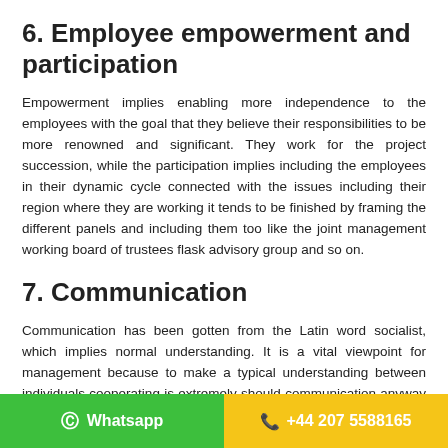6. Employee empowerment and participation
Empowerment implies enabling more independence to the employees with the goal that they believe their responsibilities to be more renowned and significant. They work for the project succession, while the participation implies including the employees in their dynamic cycle connected with the issues including their region where they are working it tends to be finished by framing the different panels and including them too like the joint management working board of trustees flask advisory group and so on.
7. Communication
Communication has been gotten from the Latin word socialist, which implies normal understanding. It is a vital viewpoint for management because to make a typical understanding between individuals cooperating is extremely should communication anyway alludes to the trading of thoughts data use feeling etcetera between a gathering to make a typical understanding formal and casual
© Whatsapp   +44 207 5588165